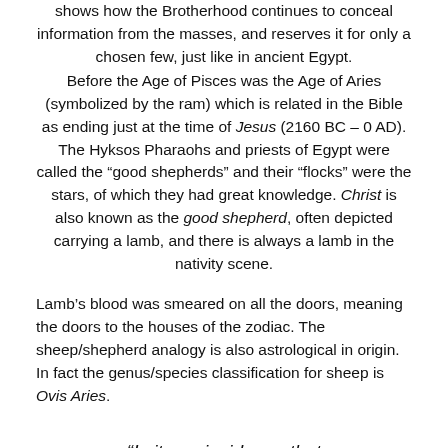shows how the Brotherhood continues to conceal information from the masses, and reserves it for only a chosen few, just like in ancient Egypt.
Before the Age of Pisces was the Age of Aries (symbolized by the ram) which is related in the Bible as ending just at the time of Jesus (2160 BC – 0 AD). The Hyksos Pharaohs and priests of Egypt were called the "good shepherds" and their "flocks" were the stars, of which they had great knowledge. Christ is also known as the good shepherd, often depicted carrying a lamb, and there is always a lamb in the nativity scene.
Lamb's blood was smeared on all the doors, meaning the doors to the houses of the zodiac. The sheep/shepherd analogy is also astrological in origin. In fact the genus/species classification for sheep is Ovis Aries.
“Is it a coincidence that